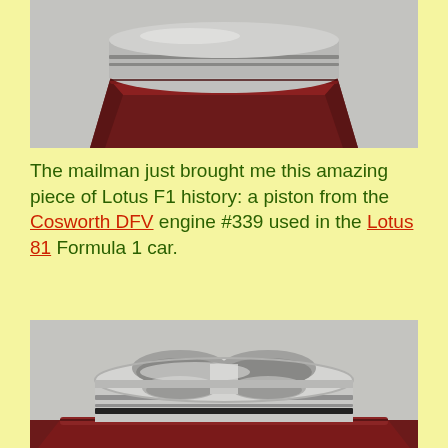[Figure (photo): Top portion of a Cosworth DFV engine piston displayed on a dark red/mahogany wooden stand, viewed from an angle showing the bottom/side of the piston against a grey concrete background.]
The mailman just brought me this amazing piece of Lotus F1 history: a piston from the Cosworth DFV engine #339 used in the Lotus 81 Formula 1 car.
[Figure (photo): Top-down view of a polished aluminium Cosworth DFV engine piston with four valve relief cutouts (two large semi-circular recesses at top and two smaller semi-circular recesses at bottom), sitting on a dark mahogany wooden display stand against a grey concrete background.]